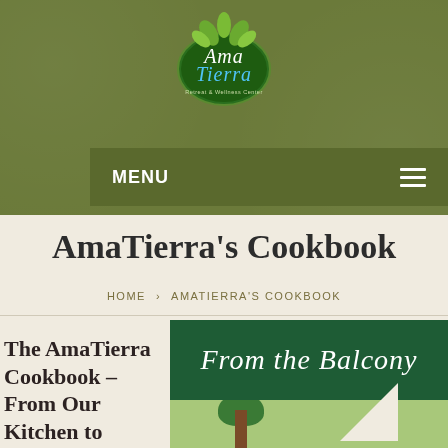[Figure (logo): AmaTierra Retreat & Wellness Center logo — oval green badge with script text on olive green background]
MENU
AmaTierra's Cookbook
HOME › AMATIERRA'S COOKBOOK
The AmaTierra Cookbook – From Our Kitchen to
[Figure (illustration): Book cover image with dark green banner reading 'From the Balcony' in white script, with a nature scene below showing a tree]